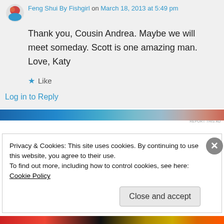Feng Shui By Fishgirl on March 18, 2013 at 5:49 pm
Thank you, Cousin Andrea. Maybe we will meet someday. Scott is one amazing man. Love, Katy
★ Like
Log in to Reply
[Figure (other): Advertisement banner strip with blue and teal gradient colors]
REPORT THIS AD
Privacy & Cookies: This site uses cookies. By continuing to use this website, you agree to their use.
To find out more, including how to control cookies, see here: Cookie Policy
Close and accept
[Figure (other): Bottom advertisement banner strip with red, black, and orange colors]